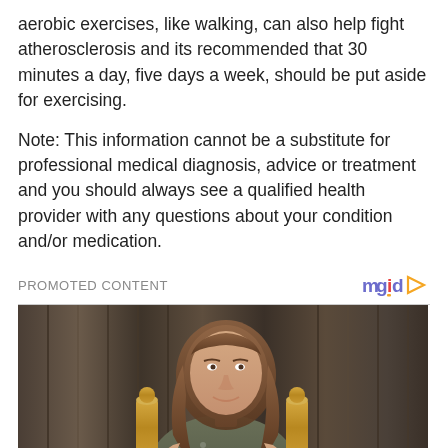aerobic exercises, like walking, can also help fight atherosclerosis and its recommended that 30 minutes a day, five days a week, should be put aside for exercising.
Note: This information cannot be a substitute for professional medical diagnosis, advice or treatment and you should always see a qualified health provider with any questions about your condition and/or medication.
[Figure (photo): Promoted content widget showing a woman holding two Oscar statuettes against a curtain backdrop, with caption 'The First Woman To Ever Win An Academy...']